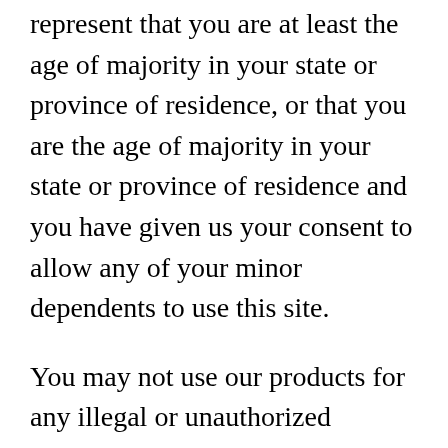represent that you are at least the age of majority in your state or province of residence, or that you are the age of majority in your state or province of residence and you have given us your consent to allow any of your minor dependents to use this site.
You may not use our products for any illegal or unauthorized purpose nor may you, in the use of the Service, violate any laws in your jurisdiction (including but not limited to copyright laws).
You must not transmit any worms or viruses